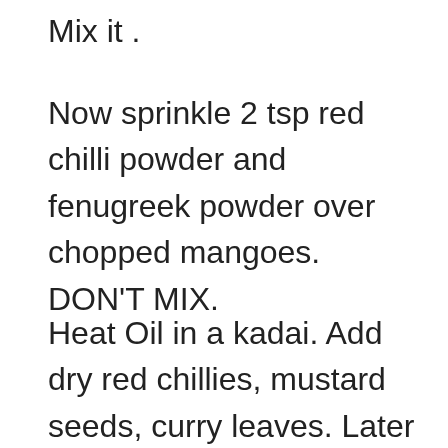Mix it .
Now sprinkle 2 tsp red chilli powder and fenugreek powder over chopped mangoes. DON'T MIX.
Heat Oil in a kadai. Add dry red chillies, mustard seeds, curry leaves. Later add asafoetida / Hing and 1 tsp red chilli powder